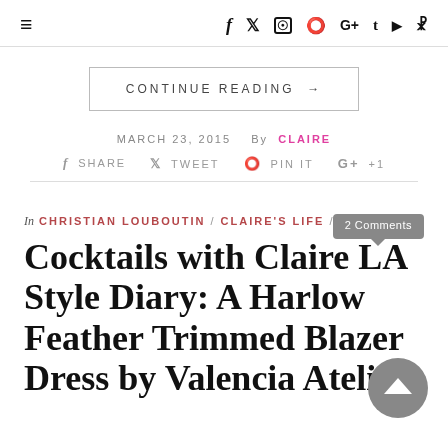≡  f  𝕏  📷  𝗽  G+  t  ▶  ⌘
CONTINUE READING →
MARCH 23, 2015  By  CLAIRE
f SHARE   𝕏 TWEET   ⊕ PIN IT   G+ +1
In CHRISTIAN LOUBOUTIN / CLAIRE'S LIFE / STYLE   2 Comments
Cocktails with Claire LA Style Diary: A Harlow Feather Trimmed Blazer Dress by Valencia Atelier